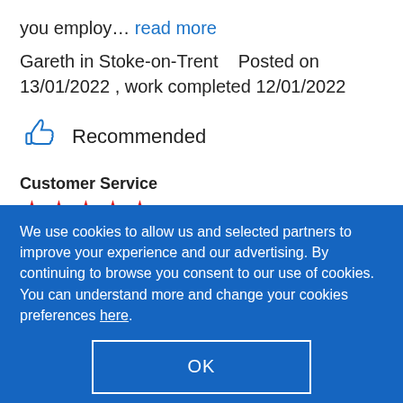you employ... read more
Gareth in Stoke-on-Trent    Posted on 13/01/2022 , work completed 12/01/2022
[Figure (illustration): Thumbs up icon in blue]
Recommended
Customer Service
[Figure (illustration): Five red star rating]
Quality
We use cookies to allow us and selected partners to improve your experience and our advertising. By continuing to browse you consent to our use of cookies. You can understand more and change your cookies preferences here.
OK